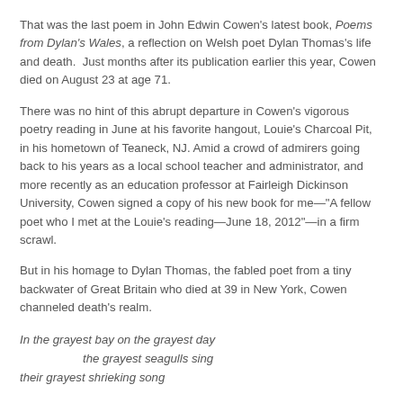That was the last poem in John Edwin Cowen's latest book, Poems from Dylan's Wales, a reflection on Welsh poet Dylan Thomas's life and death.  Just months after its publication earlier this year, Cowen died on August 23 at age 71.
There was no hint of this abrupt departure in Cowen's vigorous poetry reading in June at his favorite hangout, Louie's Charcoal Pit, in his hometown of Teaneck, NJ. Amid a crowd of admirers going back to his years as a local school teacher and administrator, and more recently as an education professor at Fairleigh Dickinson University, Cowen signed a copy of his new book for me—"A fellow poet who I met at the Louie's reading—June 18, 2012"—in a firm scrawl.
But in his homage to Dylan Thomas, the fabled poet from a tiny backwater of Great Britain who died at 39 in New York, Cowen channeled death's realm.
In the grayest bay on the grayest day
           the grayest seagulls sing
their grayest shrieking song